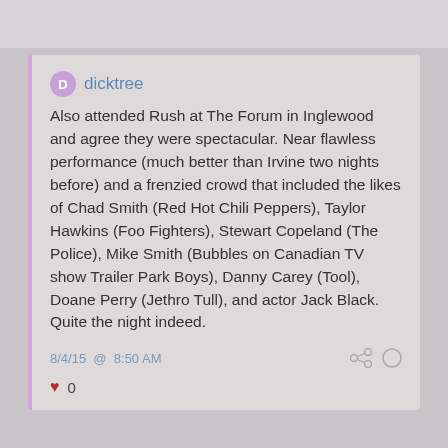dicktree
Also attended Rush at The Forum in Inglewood and agree they were spectacular. Near flawless performance (much better than Irvine two nights before) and a frenzied crowd that included the likes of Chad Smith (Red Hot Chili Peppers), Taylor Hawkins (Foo Fighters), Stewart Copeland (The Police), Mike Smith (Bubbles on Canadian TV show Trailer Park Boys), Danny Carey (Tool), Doane Perry (Jethro Tull), and actor Jack Black. Quite the night indeed.
8/4/15 @ 8:50 AM
0